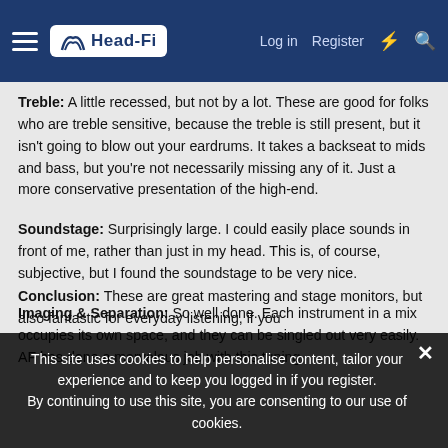Head-Fi | Log in | Register
Treble: A little recessed, but not by a lot. These are good for folks who are treble sensitive, because the treble is still present, but it isn't going to blow out your eardrums. It takes a backseat to mids and bass, but you're not necessarily missing any of it. Just a more conservative presentation of the high-end.
Soundstage: Surprisingly large. I could easily place sounds in front of me, rather than just in my head. This is, of course, subjective, but I found the soundstage to be very nice.
Imaging & Separation: So well done. Each instrument in a mix occupies its own space, and they can be singled out very easily. AF has done a marvelous job with this tuning.
Conclusion: These are great mastering and stage monitors, but also fantastic for everyday listening, if you
This site uses cookies to help personalise content, tailor your experience and to keep you logged in if you register.
By continuing to use this site, you are consenting to our use of cookies.